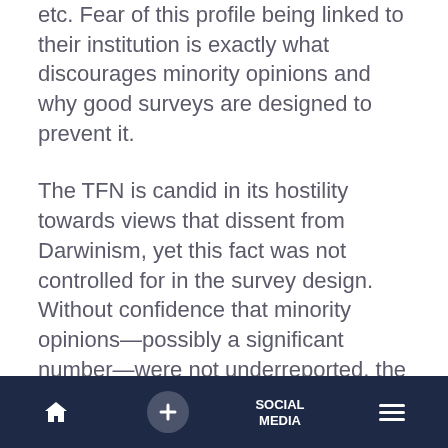etc. Fear of this profile being linked to their institution is exactly what discourages minority opinions and why good surveys are designed to prevent it.
The TFN is candid in its hostility towards views that dissent from Darwinism, yet this fact was not controlled for in the survey design. Without confidence that minority opinions—possibly a significant number—were not underreported, the survey findings and conclusions are not valid.
Inadequate Expertise
Home | + | SOCIAL MEDIA | Menu